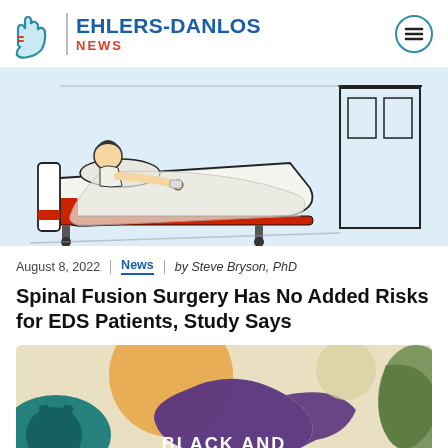EHLERS-DANLOS NEWS
[Figure (illustration): Cartoon illustration of a patient lying in a hospital bed in a room with a door, light blue background]
August 8, 2022 | News | by Steve Bryson, PhD
Spinal Fusion Surgery Has No Added Risks for EDS Patients, Study Says
[Figure (illustration): Colorful abstract illustration with teal, orange, purple, and green shapes, with partially visible text 'BLACK AND']